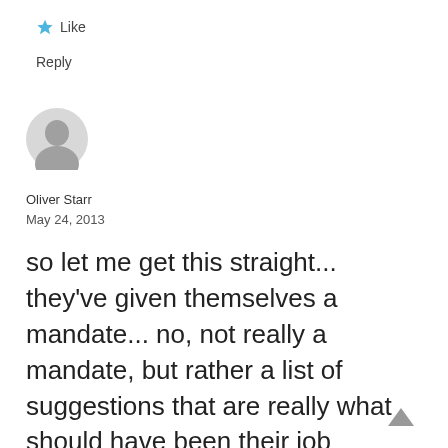★ Like
Reply
[Figure (illustration): Generic user avatar placeholder — grey silhouette of a person's head and shoulders on a light grey circle background]
Oliver Starr
May 24, 2013
so let me get this straight... they've given themselves a mandate... no, not really a mandate, but rather a list of suggestions that are really what should have been their job description from the outset, but then they want to appoint a self appointed commission that they want the